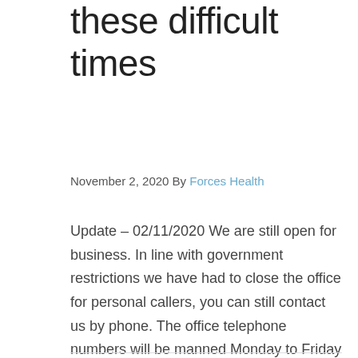these difficult times
November 2, 2020 By Forces Health
Update – 02/11/2020 We are still open for business. In line with government restrictions we have had to close the office for personal callers, you can still contact us by phone. The office telephone numbers will be manned Monday to Friday 8am to 6pm. Please feel free to still communicate by email and phone to [...]